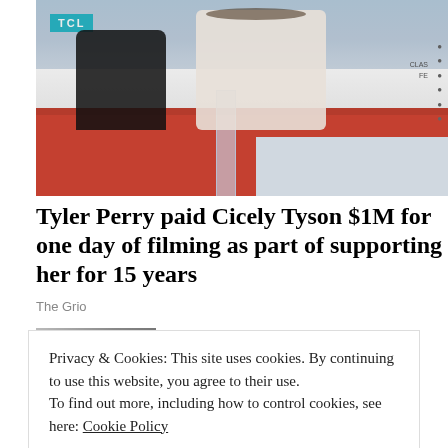[Figure (photo): Photo of Tyler Perry and Cicely Tyson at what appears to be a TCM Classic Film Festival event, with a red podium visible and a teal TCM sign in the background.]
Tyler Perry paid Cicely Tyson $1M for one day of filming as part of supporting her for 15 years
The Grio
[Figure (photo): Thumbnail photo of a person with dark hair, partially visible, associated with the Supreme Court article.]
Supreme Court splits race in
Privacy & Cookies: This site uses cookies. By continuing to use this website, you agree to their use.
To find out more, including how to control cookies, see here: Cookie Policy
Close and accept